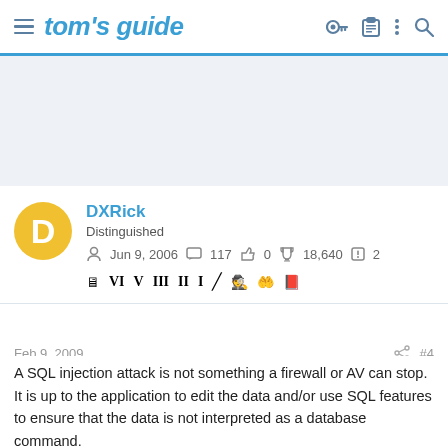tom's guide
[Figure (other): Advertisement/banner placeholder area with light blue-gray background]
DXRick
Distinguished
Jun 9, 2006  117  0  18,640  2
Feb 9, 2009  #4
A SQL injection attack is not something a firewall or AV can stop. It is up to the application to edit the data and/or use SQL features to ensure that the data is not interpreted as a database command.